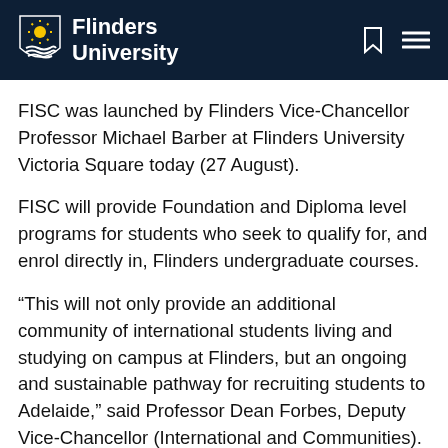Flinders University
FISC was launched by Flinders Vice-Chancellor Professor Michael Barber at Flinders University Victoria Square today (27 August).
FISC will provide Foundation and Diploma level programs for students who seek to qualify for, and enrol directly in, Flinders undergraduate courses.
“This will not only provide an additional community of international students living and studying on campus at Flinders, but an ongoing and sustainable pathway for recruiting students to Adelaide,” said Professor Dean Forbes, Deputy Vice-Chancellor (International and Communities).